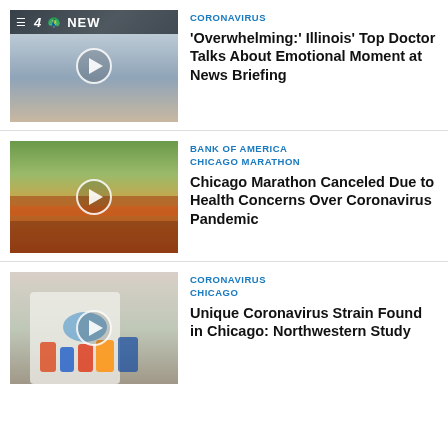[Figure (screenshot): NBC News video thumbnail showing a woman in a blue top with NBC 4 logo overlay and play button]
CORONAVIRUS
'Overwhelming:' Illinois' Top Doctor Talks About Emotional Moment at News Briefing
[Figure (screenshot): Video thumbnail showing aerial view of Chicago Marathon crowd of runners with play button]
BANK OF AMERICA CHICAGO MARATHON
Chicago Marathon Canceled Due to Health Concerns Over Coronavirus Pandemic
[Figure (screenshot): Video thumbnail showing lab worker in white coat and blue gloves working with medical vials and containers]
CORONAVIRUS
CHICAGO
Unique Coronavirus Strain Found in Chicago: Northwestern Study